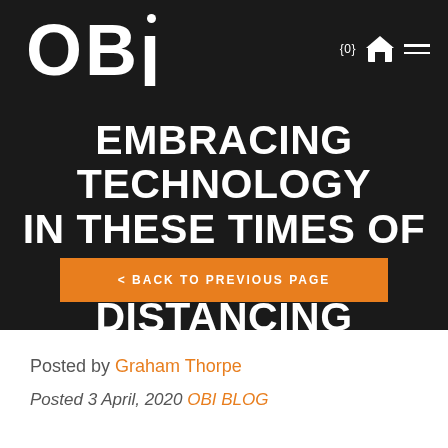OBI
EMBRACING TECHNOLOGY IN THESE TIMES OF SOCIAL DISTANCING
< BACK TO PREVIOUS PAGE
Posted by Graham Thorpe
Posted 3 April, 2020 OBI BLOG